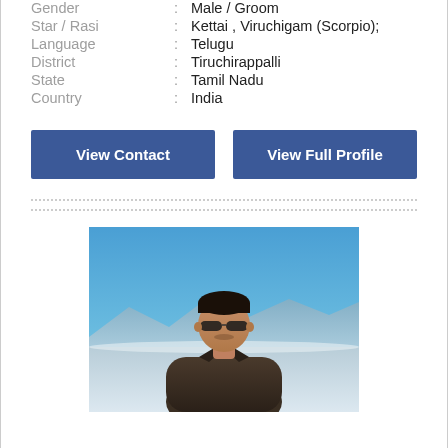Gender : Male / Groom
Star / Rasi : Kettai , Viruchigam (Scorpio);
Language : Telugu
District : Tiruchirappalli
State : Tamil Nadu
Country : India
View Contact
View Full Profile
[Figure (photo): Profile photo of a young man wearing sunglasses, standing outdoors with a blue sky and snowy mountains in the background]